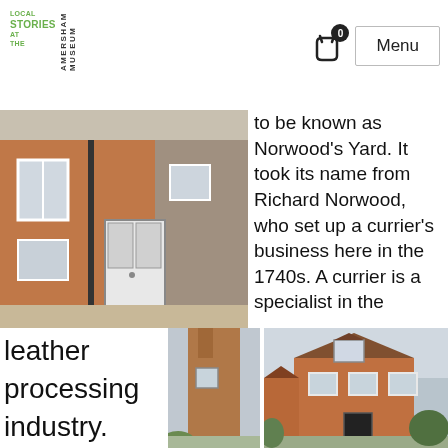Local Stories at the Amersham Museum | Menu
[Figure (photo): Brick building exterior with white door and windows]
to be known as Norwood's Yard.  It took its name from Richard Norwood, who set up a currier's business here in the 1740s. A currier is a specialist in the
leather processing industry. After the tanning process, the
[Figure (photo): Tall narrow brick building or chimney]
[Figure (photo): Two-storey red brick house with white windows]